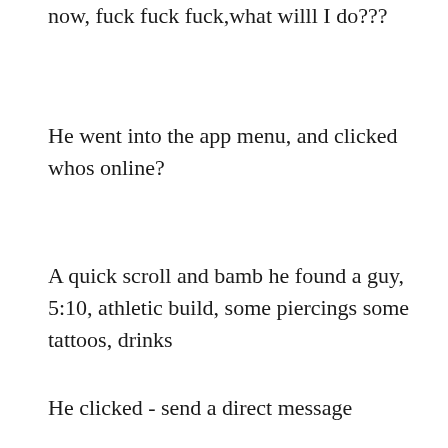now, fuck fuck fuck,what willl I do???
He went into the app menu, and clicked whos online?
A quick scroll and bamb he found a guy, 5:10, athletic build, some piercings some tattoos, drinks
He clicked - send a direct message